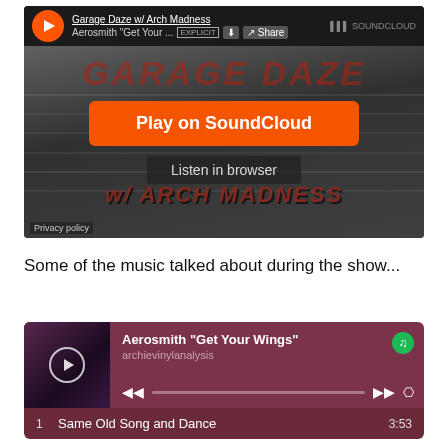[Figure (screenshot): SoundCloud embedded player widget showing 'Garage Daze w/ Arch Madness' podcast with Aerosmith 'Get Your...' track. Has orange play button, EXPLICIT label, download and share buttons, SoundCloud logo. Center overlay shows orange 'Play on SoundCloud' button and 'Listen in browser' text on dark background with graffiti-style artwork.]
Some of the music talked about during the show...
[Figure (screenshot): Spotify embedded player widget with dark mauve/burgundy background showing Aerosmith 'Get Your Wings' album, track listing starting with 'Same Old Song and Dance' at 3:53. Has playback controls, progress bar, and Spotify logo.]